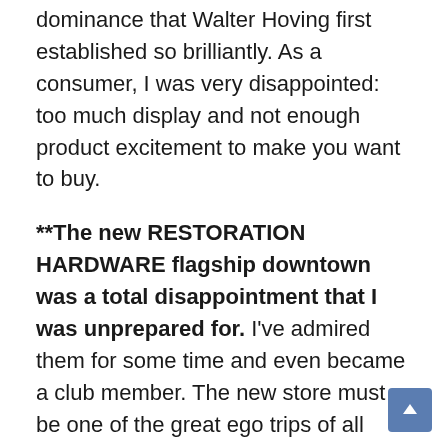dominance that Walter Hoving first established so brilliantly. As a consumer, I was very disappointed: too much display and not enough product excitement to make you want to buy.
**The new RESTORATION HARDWARE flagship downtown was a total disappointment that I was unprepared for. I've admired them for some time and even became a club member. The new store must be one of the great ego trips of all time. From what I can see, if they're planning on turning a profit, just about everything is wrong from the minute you step inside. If they intended to take the Ralph Lauren mansion approach from 72nd St, they're missing the most important ingredient: Ralph Lauren.